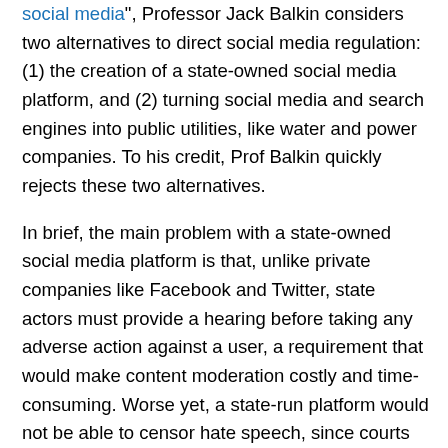social media", Professor Jack Balkin considers two alternatives to direct social media regulation: (1) the creation of a state-owned social media platform, and (2) turning social media and search engines into public utilities, like water and power companies. To his credit, Prof Balkin quickly rejects these two alternatives.
In brief, the main problem with a state-owned social media platform is that, unlike private companies like Facebook and Twitter, state actors must provide a hearing before taking any adverse action against a user, a requirement that would make content moderation costly and time-consuming. Worse yet, a state-run platform would not be able to censor hate speech, since courts have ruled that hate speech is protected speech under the First Amendment.